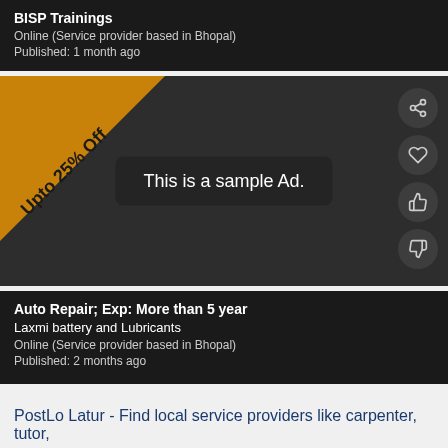BISP Trainings
Online (Service provider based in Bhopal)
Published: 1 month ago
[Figure (screenshot): An advertisement card showing 'Upto 25% Off' ribbon in top-left corner, action buttons (share, heart, thumbs-up, thumbs-down) on the right side, and 'This is a sample Ad.' label in the center on a dark gray background.]
Auto Repair; Exp: More than 5 year
Laxmi battery and Lubricants
Online (Service provider based in Bhopal)
Published: 2 months ago
PostLo Latur - Find local service providers like carpenter, tutor,